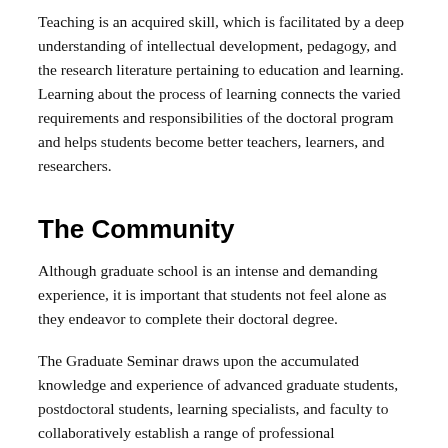Teaching is an acquired skill, which is facilitated by a deep understanding of intellectual development, pedagogy, and the research literature pertaining to education and learning. Learning about the process of learning connects the varied requirements and responsibilities of the doctoral program and helps students become better teachers, learners, and researchers.
The Community
Although graduate school is an intense and demanding experience, it is important that students not feel alone as they endeavor to complete their doctoral degree.
The Graduate Seminar draws upon the accumulated knowledge and experience of advanced graduate students, postdoctoral students, learning specialists, and faculty to collaboratively establish a range of professional